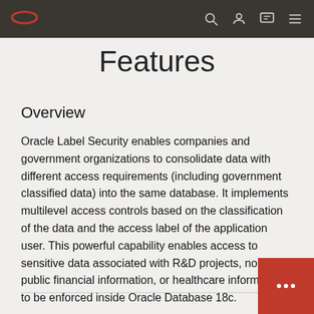Oracle Logo + Navigation bar with search, user, chat, and menu icons
Features
Overview
Oracle Label Security enables companies and government organizations to consolidate data with different access requirements (including government classified data) into the same database.  It implements multilevel access controls based on the classification of the data and the access label of the application user.  This powerful capability enables access to sensitive data associated with R&D projects, non-public financial information, or healthcare information to be enforced inside Oracle Database 18c.